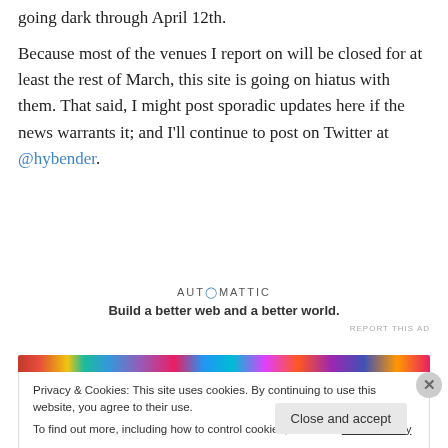going dark through April 12th.
Because most of the venues I report on will be closed for at least the rest of March, this site is going on hiatus with them. That said, I might post sporadic updates here if the news warrants it; and I’ll continue to post on Twitter at @hybender.
[Figure (infographic): Automattic advertisement block: logo text 'AUTOMATTIC' with tagline 'Build a better web and a better world.']
REPORT THIS AD
[Figure (photo): Colorful abstract image strip at the top of the cookie consent banner]
Privacy & Cookies: This site uses cookies. By continuing to use this website, you agree to their use.
To find out more, including how to control cookies, see here: Cookie Policy